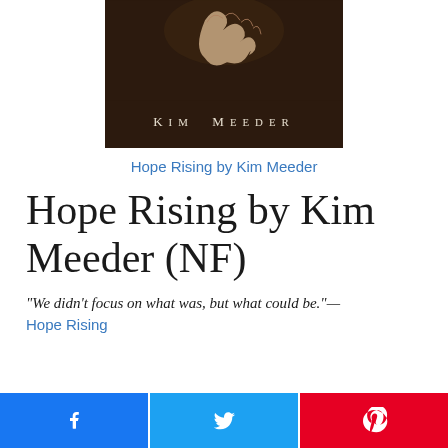[Figure (photo): Book cover of Hope Rising by Kim Meeder showing a dark brown bear fur background with a hand touching it and the author name KIM MEEDER in spaced serif letters]
Hope Rising by Kim Meeder
Hope Rising by Kim Meeder (NF)
“We didn’t focus on what was, but what could be.”— Hope Rising